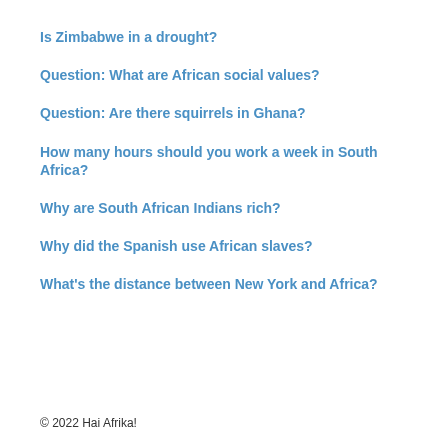Is Zimbabwe in a drought?
Question: What are African social values?
Question: Are there squirrels in Ghana?
How many hours should you work a week in South Africa?
Why are South African Indians rich?
Why did the Spanish use African slaves?
What's the distance between New York and Africa?
© 2022 Hai Afrika!